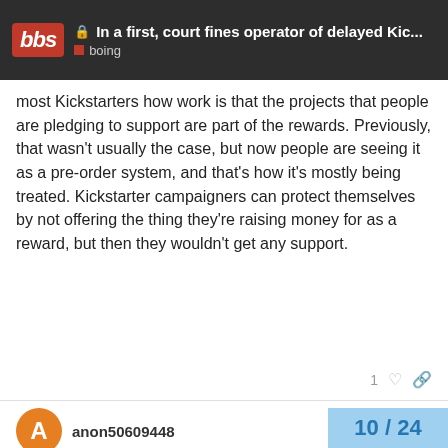In a first, court fines operator of delayed Kic... boing
most Kickstarters how work is that the projects that people are pledging to support are part of the rewards. Previously, that wasn't usually the case, but now people are seeing it as a pre-order system, and that's how it's mostly being treated. Kickstarter campaigners can protect themselves by not offering the thing they're raising money for as a reward, but then they wouldn't get any support.
anon50609448  Sep '15
But right from the quoted text:
WearySky:
• they offer to return any remaining who have not received their rewar